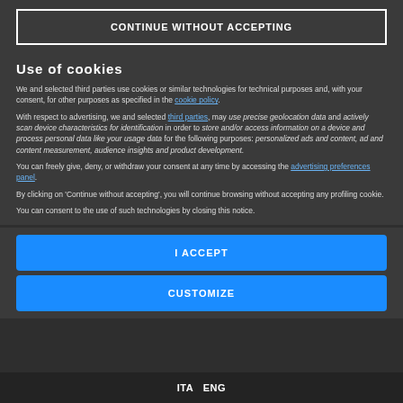CONTINUE WITHOUT ACCEPTING
Use of cookies
We and selected third parties use cookies or similar technologies for technical purposes and, with your consent, for other purposes as specified in the cookie policy.
With respect to advertising, we and selected third parties, may use precise geolocation data and actively scan device characteristics for identification in order to store and/or access information on a device and process personal data like your usage data for the following purposes: personalized ads and content, ad and content measurement, audience insights and product development.
You can freely give, deny, or withdraw your consent at any time by accessing the advertising preferences panel.
By clicking on 'Continue without accepting', you will continue browsing without accepting any profiling cookie.
You can consent to the use of such technologies by closing this notice.
I ACCEPT
CUSTOMIZE
ITA  ENG